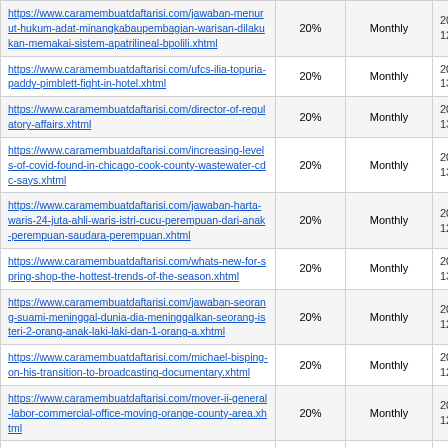| URL | Priority | Change Frequency | Date |
| --- | --- | --- | --- |
| https://www.caramembuatdaftarisi.com/jawaban-menurut-hukum-adat-minangkabaupembagian-warisan-dilakukan-memakai-sistem-apatrilineal-bpolili.xhtml | 20% | Monthly | 20…
12:… |
| https://www.caramembuatdaftarisi.com/ufcs-ilia-topuria-paddy-pimblett-fight-in-hotel.xhtml | 20% | Monthly | 20…
13:… |
| https://www.caramembuatdaftarisi.com/director-of-regulatory-affairs.xhtml | 20% | Monthly | 20…
13:… |
| https://www.caramembuatdaftarisi.com/increasing-levels-of-covid-found-in-chicago-cook-county-wastewater-cdc-says.xhtml | 20% | Monthly | 20…
13:… |
| https://www.caramembuatdaftarisi.com/jawaban-harta-waris-24-juta-ahli-waris-istri-cucu-perempuan-dari-anak-perempuan-saudara-perempuan.xhtml | 20% | Monthly | 20…
12:… |
| https://www.caramembuatdaftarisi.com/whats-new-for-spring-shop-the-hottest-trends-of-the-season.xhtml | 20% | Monthly | 20…
13:… |
| https://www.caramembuatdaftarisi.com/jawaban-seorang-suami-meninggal-dunia-dia-meninggalkan-seorang-isteri-2-orang-anak-laki-laki-dan-1-orang-a.xhtml | 20% | Monthly | 20…
12:… |
| https://www.caramembuatdaftarisi.com/michael-bisping-on-his-transition-to-broadcasting-documentary.xhtml | 20% | Monthly | 20…
12:… |
| https://www.caramembuatdaftarisi.com/mover-ii-general-labor-commercial-office-moving-orange-county-area.xhtml | 20% | Monthly | 20…
12:… |
| https://www.caramembuatdaftarisi.com/just-married-billie-lourd-shares-first-dreamy-photos-from-her-wedding-with-austen-rydell.xhtml | 20% | Monthly | 20…
1:… |